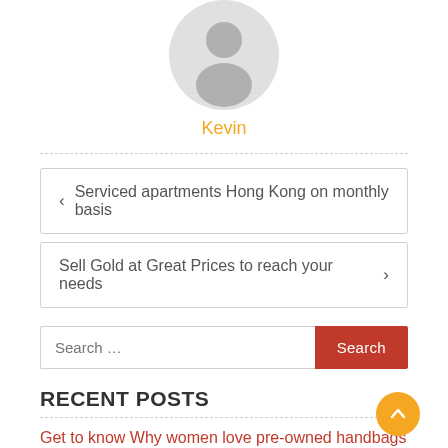[Figure (illustration): Gray circular avatar/profile placeholder icon showing a generic person silhouette]
Kevin
< Serviced apartments Hong Kong on monthly basis
Sell Gold at Great Prices to reach your needs >
Search ...
RECENT POSTS
Get to know Why women love pre-owned handbags
Learn all about the FDM 3d printer